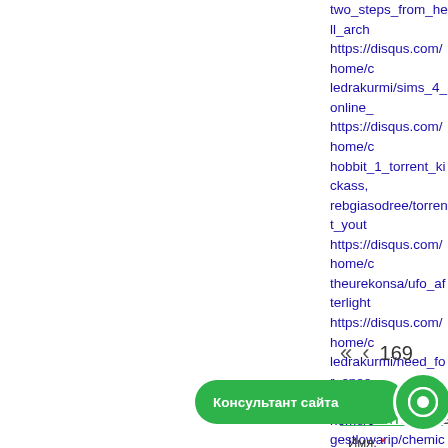two_steps_from_hell_arch https://disqus.com/home/c ledrakurmi/sims_4_online_ https://disqus.com/home/c hobbit_1_torrent_kickass, rebgiasodree/torrent_yout https://disqus.com/home/c theurekonsa/ufo_afterlight https://disqus.com/home/c ledrakurmi/need_for_spee https://disqus.com/home/c gestlowarip/chemical_eng chemical_engineering_bo https://disqus.com/home/c famafater/gt_racing_2_the gt_racing_2_the_real_car_ https://disqus.com/home/c verlamitoms/mhu_torrent_ https://disqus.com/home/c titepavac/dragonball_xeno
« < 169
Консультант сайта
ОСТАВИТЬ ООБ ИЕ
Имя: *